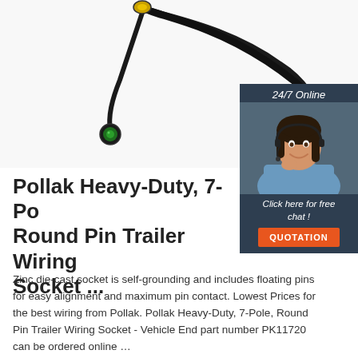[Figure (photo): Product photo of Pollak 7-pole round pin trailer wiring socket with cable and connectors on white background]
[Figure (photo): 24/7 online chat widget with dark blue background showing a smiling female customer service agent wearing a headset, with 'Click here for free chat!' text and an orange QUOTATION button]
Pollak Heavy-Duty, 7-Po Round Pin Trailer Wiring Socket ...
Zinc die-cast socket is self-grounding and includes floating pins for easy alignment and maximum pin contact. Lowest Prices for the best wiring from Pollak. Pollak Heavy-Duty, 7-Pole, Round Pin Trailer Wiring Socket - Vehicle End part number PK11720 can be ordered online ...